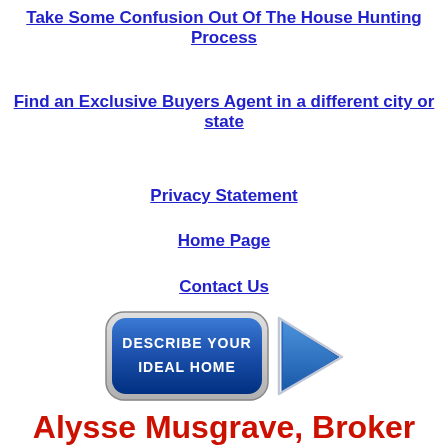Take Some Confusion Out Of The House Hunting Process
Find an Exclusive Buyers Agent in a different city or state
Privacy Statement
Home Page
Contact Us
[Figure (illustration): A button graphic with a dark blue rounded rectangle and a blue arrow chevron pointing right, with white bold text reading 'DESCRIBE YOUR IDEAL HOME']
Alysse Musgrave, Broker